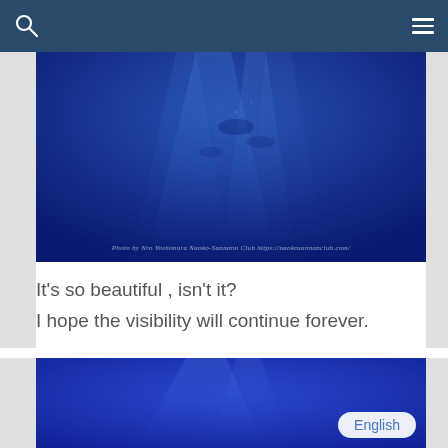Navigation bar with search icon and menu icon
[Figure (photo): Underwater photograph showing deep blue ocean water with faint silhouettes of divers and light rays penetrating the water. Watermark reads: Photo by Nro Yoshimura Naoko-Sannann Club https://naokosannanclub.com/]
It's so beautiful , isn't it?
I hope the visibility will continue forever.
[Figure (photo): Second underwater photograph showing deep blue ocean water, partially visible at bottom of page. An English language selector button is overlaid in the bottom-right corner.]